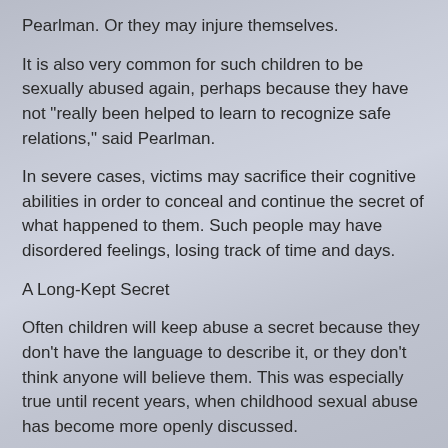Pearlman. Or they may injure themselves.
It is also very common for such children to be sexually abused again, perhaps because they have not "really been helped to learn to recognize safe relations," said Pearlman.
In severe cases, victims may sacrifice their cognitive abilities in order to conceal and continue the secret of what happened to them. Such people may have disordered feelings, losing track of time and days.
A Long-Kept Secret
Often children will keep abuse a secret because they don't have the language to describe it, or they don't think anyone will believe them. This was especially true until recent years, when childhood sexual abuse has become more openly discussed.
Childhood victims are also often frightened into keeping the secret by the perpetrator, who may have threatened to harm the child or those dear to him if he tells anyone about what